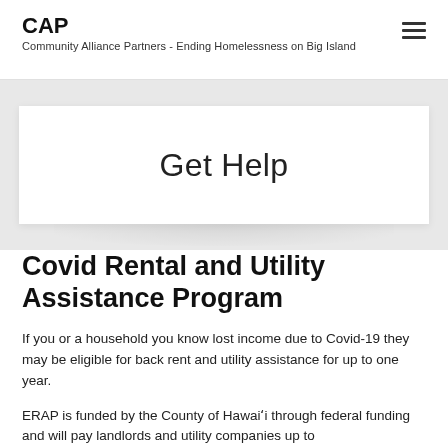CAP
Community Alliance Partners - Ending Homelessness on Big Island
[Figure (screenshot): Hero banner with white card containing the text 'Get Help' on a light gray background with a subtle shadow effect beneath the card]
Covid Rental and Utility Assistance Program
If you or a household you know lost income due to Covid-19 they may be eligible for back rent and utility assistance for up to one year.
ERAP is funded by the County of Hawaiʻi through federal funding and will pay landlords and utility companies up to...